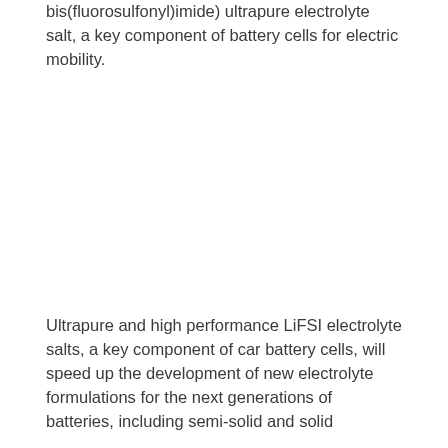bis(fluorosulfonyl)imide) ultrapure electrolyte salt, a key component of battery cells for electric mobility.
Ultrapure and high performance LiFSI electrolyte salts, a key component of car battery cells, will speed up the development of new electrolyte formulations for the next generations of batteries, including semi-solid and solid